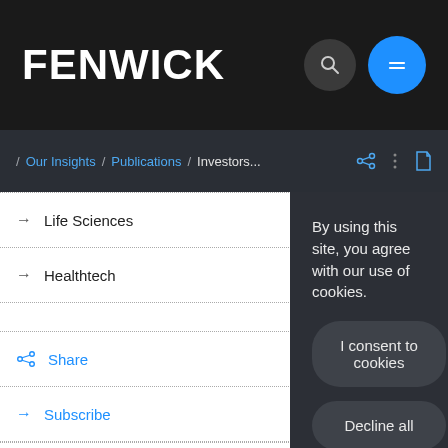FENWICK
/ Our Insights / Publications / Investors...
→ Life Sciences
→ Healthtech
Share
→ Subscribe
By using this site, you agree with our use of cookies.
I consent to cookies
Decline all
Want to know more?
Privacy policy